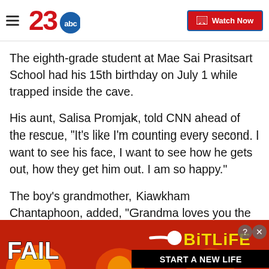23abc — Watch Now
The eighth-grade student at Mae Sai Prasitsart School had his 15th birthday on July 1 while trapped inside the cave.
His aunt, Salisa Promjak, told CNN ahead of the rescue, "It's like I'm counting every second. I want to see his face, I want to see how he gets out, how they get him out. I am so happy."
The boy's grandmother, Kiawkham Chantaphoon, added, "Grandma loves you the most in the whole
[Figure (screenshot): Advertisement banner: BitLife 'START A NEW LIFE' game ad with FAIL text and cartoon character, red background with fire imagery]